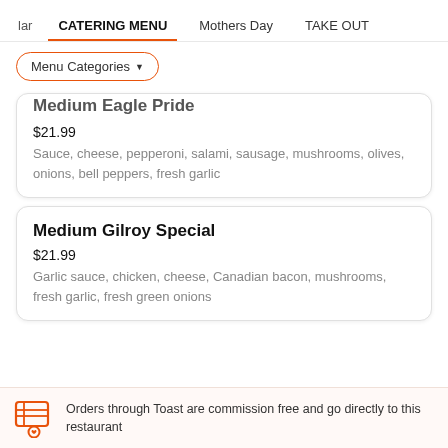lar | CATERING MENU | Mothers Day | TAKE OUT
Menu Categories ▼
Medium Eagle Pride
$21.99
Sauce, cheese, pepperoni, salami, sausage, mushrooms, olives, onions, bell peppers, fresh garlic
Medium Gilroy Special
$21.99
Garlic sauce, chicken, cheese, Canadian bacon, mushrooms, fresh garlic, fresh green onions
Orders through Toast are commission free and go directly to this restaurant